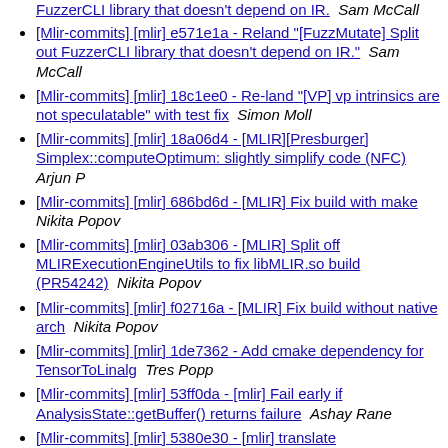[Mlir-commits] [mlir] e571e1a - Reland "[FuzzMutate] Split out FuzzerCLI library that doesn't depend on IR." Sam McCall
[Mlir-commits] [mlir] 18c1ee0 - Re-land "[VP] vp intrinsics are not speculatable" with test fix Simon Moll
[Mlir-commits] [mlir] 18a06d4 - [MLIR][Presburger] Simplex::computeOptimum: slightly simplify code (NFC) Arjun P
[Mlir-commits] [mlir] 686bd6d - [MLIR] Fix build with make Nikita Popov
[Mlir-commits] [mlir] 03ab306 - [MLIR] Split off MLIRExecutionEngineUtils to fix libMLIR.so build (PR54242) Nikita Popov
[Mlir-commits] [mlir] f02716a - [MLIR] Fix build without native arch Nikita Popov
[Mlir-commits] [mlir] 1de7362 - Add cmake dependency for TensorToLinalg Tres Popp
[Mlir-commits] [mlir] 53ff0da - [mlir] Fail early if AnalysisState::getBuffer() returns failure Ashay Rane
[Mlir-commits] [mlir] 5380e30 - [mlir] translate memref.reshape ops that have static shapes Ashay Rane
[Mlir-commits] [mlir] 09fc685 - [mlir][nvvm] Add attribute to nvvm.cpAsyncOp to control l1 bypass Thomas Raoux
[Mlir-commits] [mlir] 15bcc36 - [mlir][gpu] Move async